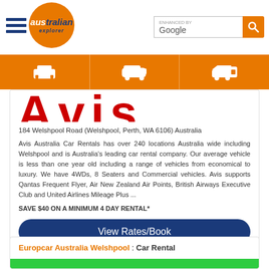australian explorer | ENHANCED BY Google [search bar]
[Figure (screenshot): Navigation bar with orange background and three icons: bed/accommodation, shuttle van, and car rental]
[Figure (logo): Avis car rental logo (partial, red letters cropped at top)]
184 Welshpool Road (Welshpool, Perth, WA 6106) Australia
Avis Australia Car Rentals has over 240 locations Australia wide including Welshpool and is Australia's leading car rental company. Our average vehicle is less than one year old including a range of vehicles from economical to luxury. We have 4WDs, 8 Seaters and Commercial vehicles. Avis supports Qantas Frequent Flyer, Air New Zealand Air Points, British Airways Executive Club and United Airlines Mileage Plus ...
SAVE $40 ON A MINIMUM 4 DAY RENTAL*
View Rates/Book
Europcar Australia Welshpool : Car Rental